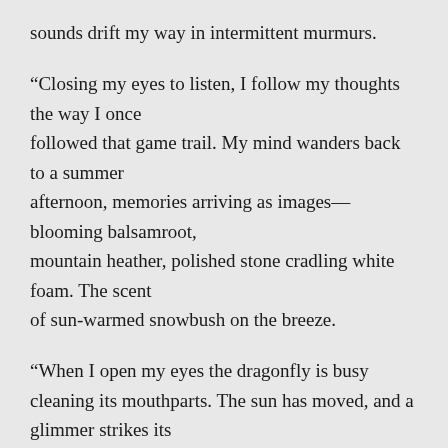sounds drift my way in intermittent murmurs.
“Closing my eyes to listen, I follow my thoughts the way I once followed that game trail. My mind wanders back to a summer afternoon, memories arriving as images—blooming balsamroot, mountain heather, polished stone cradling white foam. The scent of sun-warmed snowbush on the breeze.
“When I open my eyes the dragonfly is busy cleaning its mouthparts. The sun has moved, and a glimmer strikes its transparent wings, catching the light and throwing it back in tiny